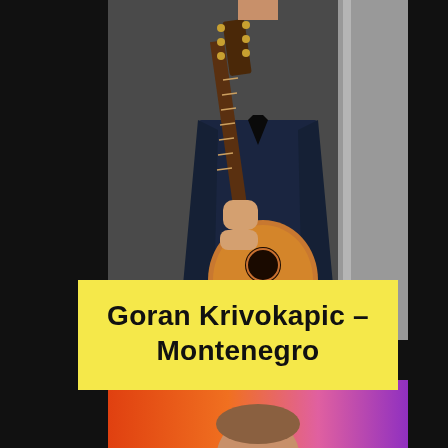[Figure (photo): Portrait of guitarist Goran Krivokapic wearing a dark navy suit, holding a classical guitar upright against a dark grey background]
Goran Krivokapic – Montenegro
[Figure (photo): Partial photo at bottom showing top of a person's head with colorful orange/purple background]